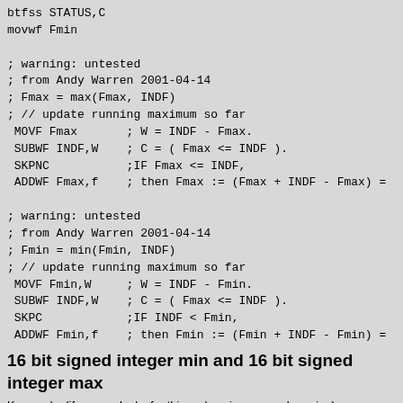btfss STATUS,C
movwf Fmin

; warning: untested
; from Andy Warren 2001-04-14
; Fmax = max(Fmax, INDF)
; // update running maximum so far
 MOVF Fmax       ; W = INDF - Fmax.
 SUBWF INDF,W    ; C = ( Fmax <= INDF ).
 SKPNC           ;IF Fmax <= INDF,
 ADDWF Fmax,f    ; then Fmax := (Fmax + INDF - Fmax) =

; warning: untested
; from Andy Warren 2001-04-14
; Fmin = min(Fmin, INDF)
; // update running maximum so far
 MOVF Fmin,W     ; W = INDF - Fmin.
 SUBWF INDF,W    ; C = ( Fmax <= INDF ).
 SKPC            ;IF INDF < Fmin,
 ADDWF Fmin,f    ; then Fmin := (Fmin + INDF - Fmin) =
16 bit signed integer min and 16 bit signed integer max
Keywords: (if anyone looks for this code using a search engine) compare comparing 16-bit signed integer integers DS1820 DS18B20 DALLAS thermometer